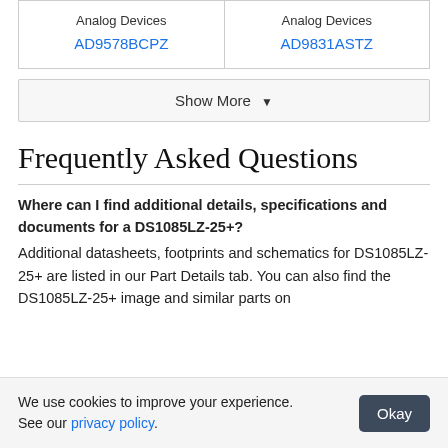|  |  |
| --- | --- |
| Analog Devices
AD9578BCPZ | Analog Devices
AD9831ASTZ |
Show More ▼
Frequently Asked Questions
Where can I find additional details, specifications and documents for a DS1085LZ-25+?
Additional datasheets, footprints and schematics for DS1085LZ-25+ are listed in our Part Details tab. You can also find the DS1085LZ-25+ image and similar parts on
We use cookies to improve your experience. See our privacy policy.